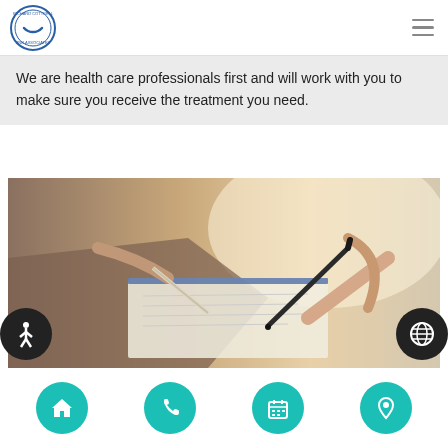[Figure (logo): Richard Cottrell and Associates circular logo with blue ring and crescent/smile icon]
We are health care professionals first and will work with you to make sure you receive the treatment you need.
[Figure (photo): Close-up photo of two people signing documents with pens on a clipboard, warm light background]
[Figure (infographic): Bottom navigation bar with four teal circular icon buttons: home, phone, calendar, and location pin]